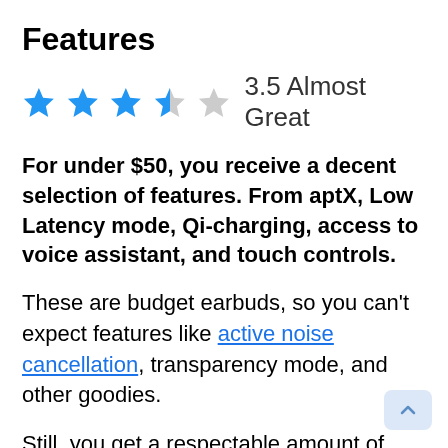Features
[Figure (other): Star rating: 3.5 out of 5 stars (3 full blue stars, 1 half blue star, 1 empty grey star), text '3.5 Almost Great']
For under $50, you receive a decent selection of features. From aptX, Low Latency mode, Qi-charging, access to voice assistant, and touch controls.
These are budget earbuds, so you can't expect features like active noise cancellation, transparency mode, and other goodies.
Still, you get a respectable amount of useful technology inside EarFun Free 2.